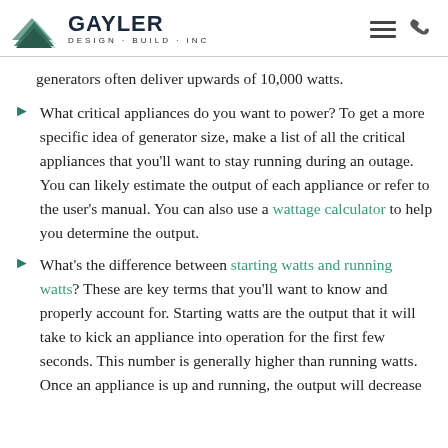GAYLER DESIGN · BUILD · INC
generators often deliver upwards of 10,000 watts.
What critical appliances do you want to power? To get a more specific idea of generator size, make a list of all the critical appliances that you'll want to stay running during an outage. You can likely estimate the output of each appliance or refer to the user's manual. You can also use a wattage calculator to help you determine the output.
What's the difference between starting watts and running watts? These are key terms that you'll want to know and properly account for. Starting watts are the output that it will take to kick an appliance into operation for the first few seconds. This number is generally higher than running watts. Once an appliance is up and running, the output will decrease